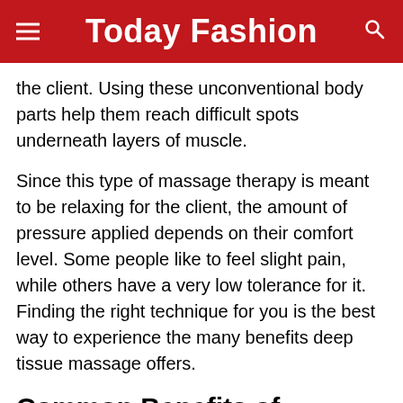Today Fashion
the client. Using these unconventional body parts help them reach difficult spots underneath layers of muscle.
Since this type of massage therapy is meant to be relaxing for the client, the amount of pressure applied depends on their comfort level. Some people like to feel slight pain, while others have a very low tolerance for it. Finding the right technique for you is the best way to experience the many benefits deep tissue massage offers.
Common Benefits of Deep Tissue Massage
People use deep tissue massage to deal with